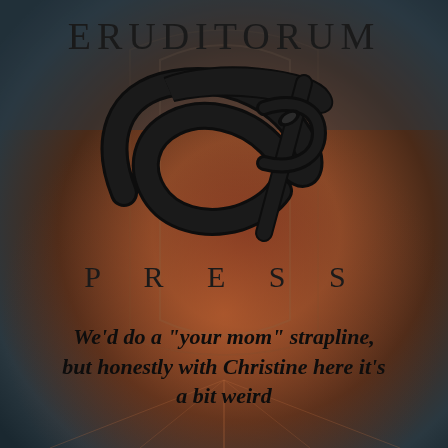[Figure (logo): Eruditorum Press logo: stylized EP monogram with swooping calligraphic letterforms in black, on a muted dark atmospheric background with reddish-brown tones suggesting a stained glass or Gothic artwork]
ERUDITORUM
PRESS
We’d do a “your mom” strapline, but honestly with Christine here it’s a bit weird